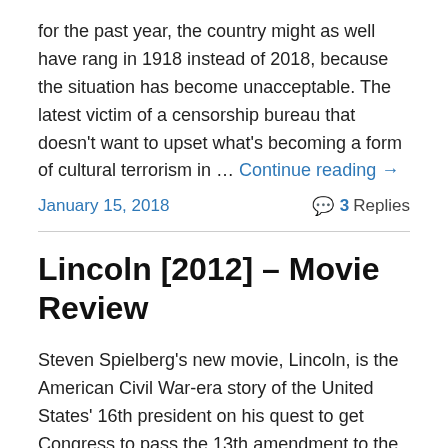for the past year, the country might as well have rang in 1918 instead of 2018, because the situation has become unacceptable. The latest victim of a censorship bureau that doesn't want to upset what's becoming a form of cultural terrorism in … Continue reading →
January 15, 2018
3 Replies
Lincoln [2012] – Movie Review
Steven Spielberg's new movie, Lincoln, is the American Civil War-era story of the United States' 16th president on his quest to get Congress to pass the 13th amendment to the constitution, effectively ending slavery, something he wants done before his inauguration ceremony for the second term … Continue reading →